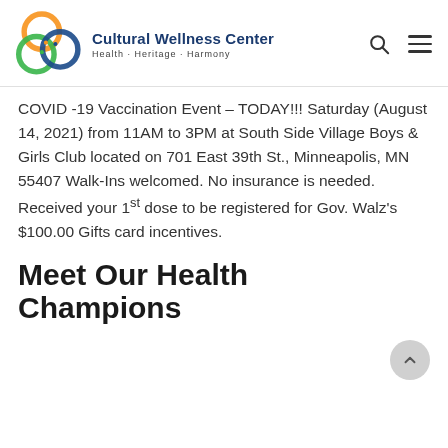[Figure (logo): Cultural Wellness Center logo with three overlapping circles in orange, green, and blue with text 'Cultural Wellness Center Health · Heritage · Harmony']
COVID -19 Vaccination Event – TODAY!!! Saturday (August 14, 2021) from 11AM to 3PM at South Side Village Boys & Girls Club located on 701 East 39th St., Minneapolis, MN 55407 Walk-Ins welcomed. No insurance is needed. Received your 1st dose to be registered for Gov. Walz's $100.00 Gifts card incentives.
Meet Our Health Champions